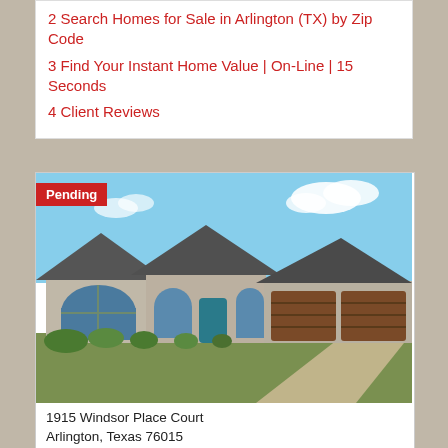2 Search Homes for Sale in Arlington (TX) by Zip Code
3 Find Your Instant Home Value | On-Line | 15 Seconds
4 Client Reviews
[Figure (photo): Photo of a brick ranch-style home with three-car garage, arched windows, teal front door, and green lawn. Badge reads 'Pending'.]
1915 Windsor Place Court
Arlington, Texas 76015